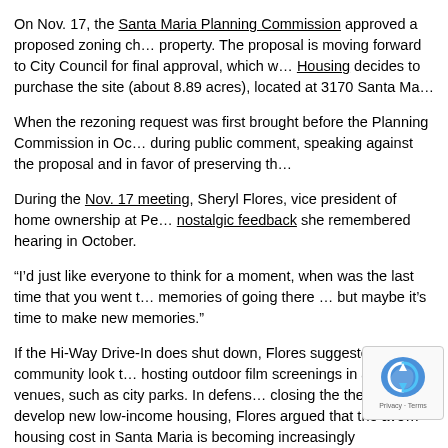On Nov. 17, the Santa Maria Planning Commission approved a proposed zoning change for the property. The proposal is moving forward to City Council for final approval, which w… Housing decides to purchase the site (about 8.89 acres), located at 3170 Santa Ma…
When the rezoning request was first brought before the Planning Commission in Oc… during public comment, speaking against the proposal and in favor of preserving th…
During the Nov. 17 meeting, Sheryl Flores, vice president of home ownership at Pe… nostalgic feedback she remembered hearing in October.
“I’d just like everyone to think for a moment, when was the last time that you went t… memories of going there … but maybe it’s time to make new memories.”
If the Hi-Way Drive-In does shut down, Flores suggested that the community look t… hosting outdoor film screenings in alternative venues, such as city parks. In defens… closing the theater to develop new low-income housing, Flores argued that the ave… housing cost in Santa Maria is becoming increasingly unaffordable each year.
“Drive-ins are becoming extinct, but even more so is the American dream of homeownership,” said Flores, adding that as of September, the median listing home… Santa Maria was $547,000.
Bob Gran, whose family has owned and operated the Hi-Way Drive-In… decades, also spoke during the Nov. 17 meeting in favor of the zoning… father passed away in 2006, Gran stepped up as a co-operator to help his mother,… Gran, continue running the business.